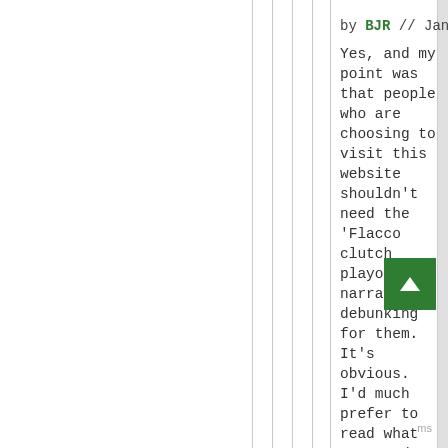by BJR // Jan 10, 2015 - 4:01pm
Yes, and my point was that people who are choosing to visit this website shouldn't need the 'Flacco clutch playoff QB' narrative debunking for them. It's obvious. I'd much prefer to read what DVOA and the site's other signature stats are telling us about the matchup that we might not already know.
Login or register to post comments